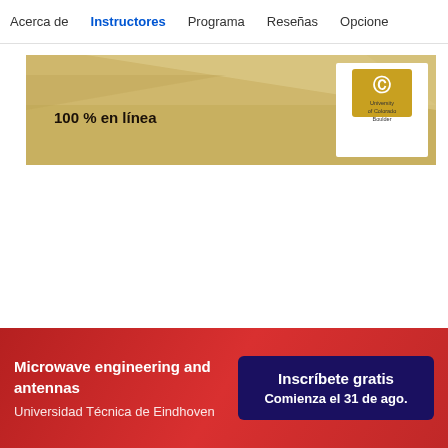Acerca de  Instructores  Programa  Reseñas  Opcione
[Figure (illustration): Gold/tan triangular banner graphic for University of Colorado Boulder with text '100 % en línea' and a university logo on the right side]
Microwave engineering and antennas
Universidad Técnica de Eindhoven
Inscríbete gratis
Comienza el 31 de ago.